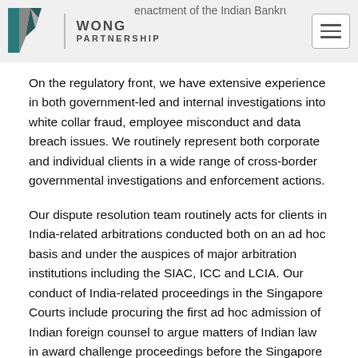Wong Partnership — enactment of the Indian Bankruptcy Code.
On the regulatory front, we have extensive experience in both government-led and internal investigations into white collar fraud, employee misconduct and data breach issues. We routinely represent both corporate and individual clients in a wide range of cross-border governmental investigations and enforcement actions.
Our dispute resolution team routinely acts for clients in India-related arbitrations conducted both on an ad hoc basis and under the auspices of major arbitration institutions including the SIAC, ICC and LCIA. Our conduct of India-related proceedings in the Singapore Courts include procuring the first ad hoc admission of Indian foreign counsel to argue matters of Indian law in award challenge proceedings before the Singapore Courts.